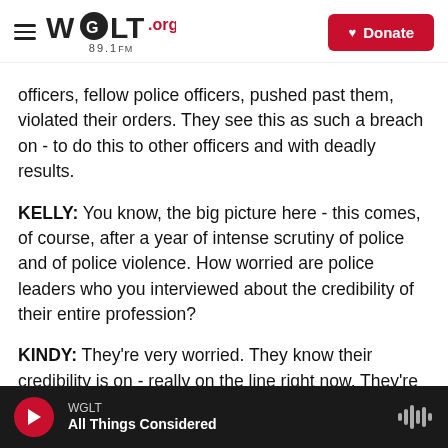WGLT.org 89.1FM — Donate
officers, fellow police officers, pushed past them, violated their orders. They see this as such a breach on - to do this to other officers and with deadly results.
KELLY: You know, the big picture here - this comes, of course, after a year of intense scrutiny of police and of police violence. How worried are police leaders who you interviewed about the credibility of their entire profession?
KINDY: They're very worried. They know their credibility is on - really on the line right now. They're struggling with what to do in the future about
WGLT — All Things Considered